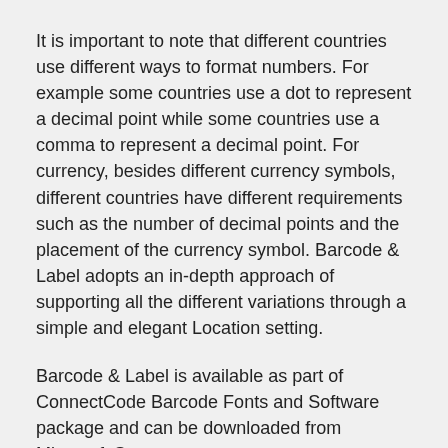It is important to note that different countries use different ways to format numbers. For example some countries use a dot to represent a decimal point while some countries use a comma to represent a decimal point. For currency, besides different currency symbols, different countries have different requirements such as the number of decimal points and the placement of the currency symbol. Barcode & Label adopts an in-depth approach of supporting all the different variations through a simple and elegant Location setting.
Barcode & Label is available as part of ConnectCode Barcode Fonts and Software package and can be downloaded from Microsoft Store.
https://www.barcoderesource.com/barcodelabelapp.shtml
Barcode & Label also supports printing of standards compliant barcodes through ConnectCode's award-winning barcode fonts engine.
This engine generates barcodes of the highest quality barcodes that meet the strictest auto-id requirements. The following is a list of the